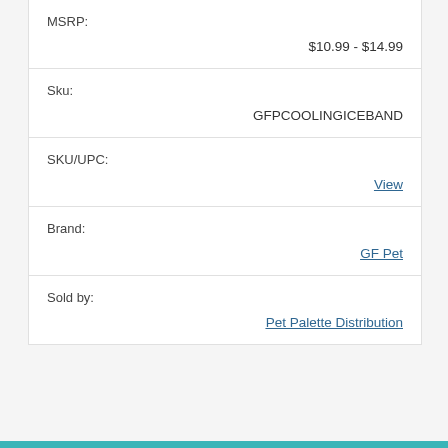| MSRP: | $10.99 - $14.99 |
| Sku: | GFPCOOLINGICEBAND |
| SKU/UPC: | View |
| Brand: | GF Pet |
| Sold by: | Pet Palette Distribution |